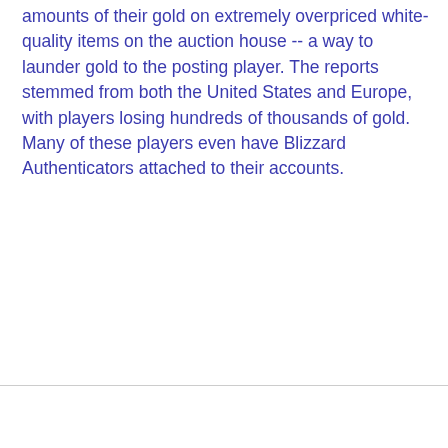amounts of their gold on extremely overpriced white-quality items on the auction house -- a way to launder gold to the posting player. The reports stemmed from both the United States and Europe, with players losing hundreds of thousands of gold. Many of these players even have Blizzard Authenticators attached to their accounts.